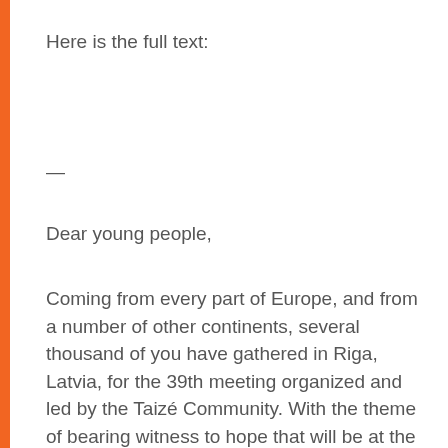Here is the full text:
—
Dear young people,
Coming from every part of Europe, and from a number of other continents, several thousand of you have gathered in Riga, Latvia, for the 39th meeting organized and led by the Taizé Community. With the theme of bearing witness to hope that will be at the heart of your reflection and prayers, Pope Francis is particularly close to you because he has often called you to not let anyone rob you of your hope. During the WYD prayer vigil in